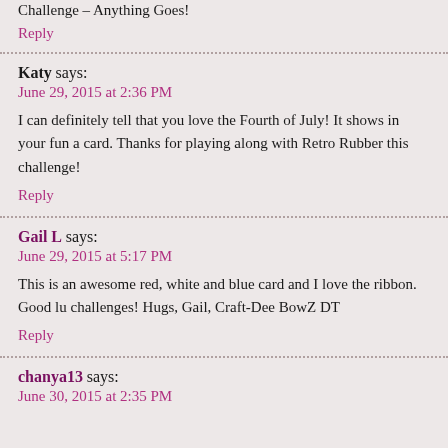Challenge – Anything Goes!
Reply
Katy says:
June 29, 2015 at 2:36 PM
I can definitely tell that you love the Fourth of July! It shows in your fun a card. Thanks for playing along with Retro Rubber this challenge!
Reply
Gail L says:
June 29, 2015 at 5:17 PM
This is an awesome red, white and blue card and I love the ribbon. Good lu challenges! Hugs, Gail, Craft-Dee BowZ DT
Reply
chanya13 says:
June 30, 2015 at 2:35 PM